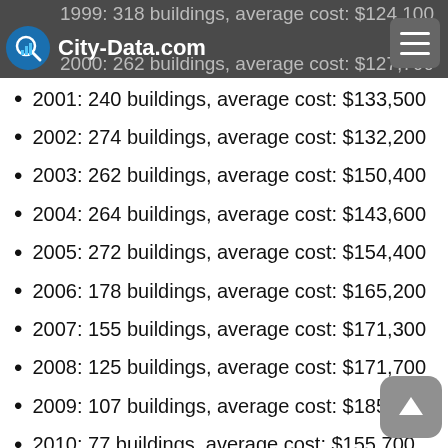City-Data.com
1999: 318 buildings, average cost: $124,100
2000: 262 buildings, average cost: $127,700
2001: 240 buildings, average cost: $133,500
2002: 274 buildings, average cost: $132,200
2003: 262 buildings, average cost: $150,400
2004: 264 buildings, average cost: $143,600
2005: 272 buildings, average cost: $154,400
2006: 178 buildings, average cost: $165,200
2007: 155 buildings, average cost: $171,300
2008: 125 buildings, average cost: $171,700
2009: 107 buildings, average cost: $185,200
2010: 77 buildings, average cost: $155,700
2011: 67 buildings, average cost: $187,400
2012: 97 buildings, average cost: $202,300
2013: 69 buildings, average cost: $208,300
2014: 78 buildings, average cost: $198,000
2015: 81 buildings, average cost: $224,300
2016: 89 buildings, average cost: $234,700
2017: 105 buildings, average cost: $187,600
2018: 102 buildings, average cost: $220,200